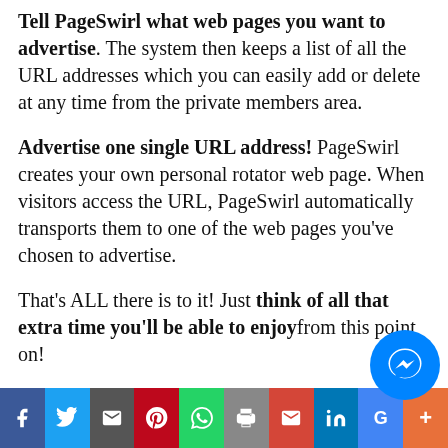Tell PageSwirl what web pages you want to advertise. The system then keeps a list of all the URL addresses which you can easily add or delete at any time from the private members area.
Advertise one single URL address! PageSwirl creates your own personal rotator web page. When visitors access the URL, PageSwirl automatically transports them to one of the web pages you've chosen to advertise.
That's ALL there is to it! Just think of all that extra time you'll be able to enjoy from this point on!
[Figure (other): Social sharing bar at bottom of page with buttons for Facebook, Twitter, Email, Pinterest, WhatsApp, Print, Gmail, LinkedIn, Google, and More. A blue Messenger chat bubble overlaps the bar at the right.]